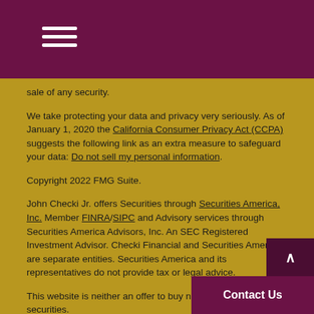Navigation menu (hamburger icon)
sale of any security.
We take protecting your data and privacy very seriously. As of January 1, 2020 the California Consumer Privacy Act (CCPA) suggests the following link as an extra measure to safeguard your data: Do not sell my personal information.
Copyright 2022 FMG Suite.
John Checki Jr. offers Securities through Securities America, Inc. Member FINRA/SIPC and Advisory services through Securities America Advisors, Inc. An SEC Registered Investment Advisor. Checki Financial and Securities America are separate entities. Securities America and its representatives do not provide tax or legal advice.
This website is neither an offer to buy nor a solicitation to sell securities.
This site is published for residents of the United States and is for informational purposes only and does not constitute an offer to sell or a solicitation of an offer to buy any security or product that may be referenced herein. Persons mentioned on this website may only offer services and transact business and/or respond to inquiries in states or jurisdictions in which they have been properly registered or are exempt from registration. Not all products and services referenced on this site are available in every state, jurisdiction or from every per